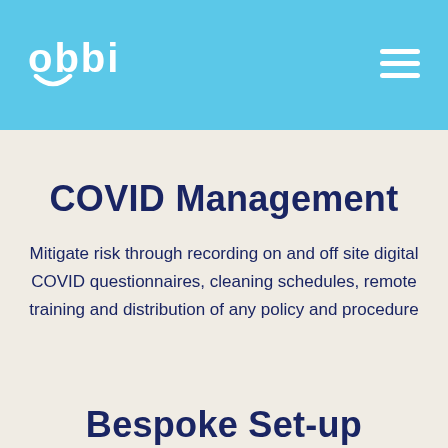obbi
COVID Management
Mitigate risk through recording on and off site digital COVID questionnaires, cleaning schedules, remote training and distribution of any policy and procedure
Bespoke Set-up